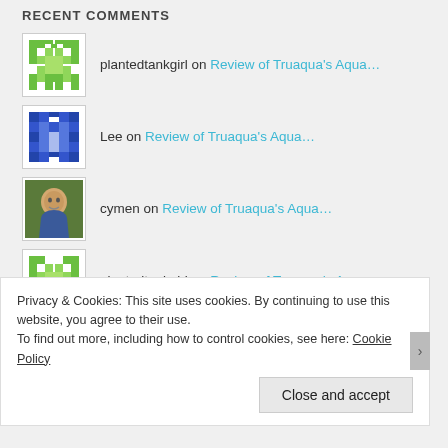RECENT COMMENTS
plantedtankgirl on Review of Truaqua's Aqua...
Lee on Review of Truaqua's Aqua...
cymen on Review of Truaqua's Aqua...
plantedtankgirl on Review of Truaqua's Aqua...
cymen on Review of Truaqua's Aqua...
Privacy & Cookies: This site uses cookies. By continuing to use this website, you agree to their use.
To find out more, including how to control cookies, see here: Cookie Policy
Close and accept